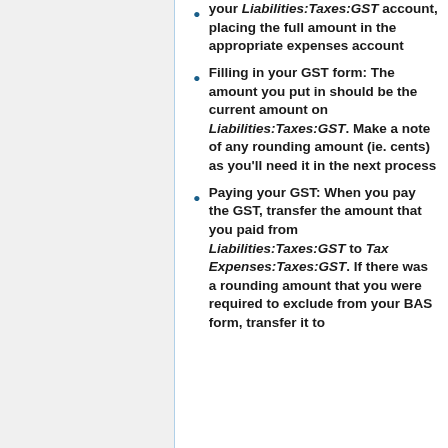your Liabilities:Taxes:GST account, placing the full amount in the appropriate expenses account
Filling in your GST form: The amount you put in should be the current amount on Liabilities:Taxes:GST. Make a note of any rounding amount (ie. cents) as you'll need it in the next process
Paying your GST: When you pay the GST, transfer the amount that you paid from Liabilities:Taxes:GST to Tax Expenses:Taxes:GST. If there was a rounding amount that you were required to exclude from your BAS form, transfer it to